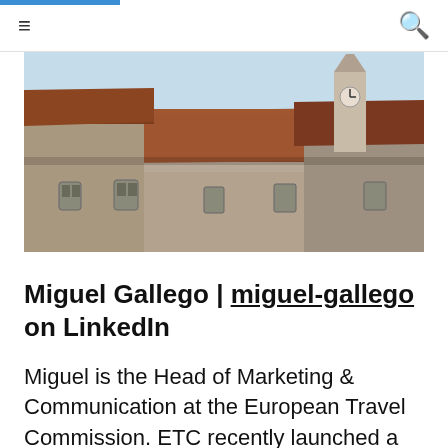≡  🔍
[Figure (photo): Photograph of historic European buildings with red/terracotta tiled roofs, stone walls, and a clock tower in the background against a light blue sky.]
Miguel Gallego | miguel-gallego on LinkedIn
Miguel is the Head of Marketing & Communication at the European Travel Commission. ETC recently launched a campaign #CuriousEurope, which is all about